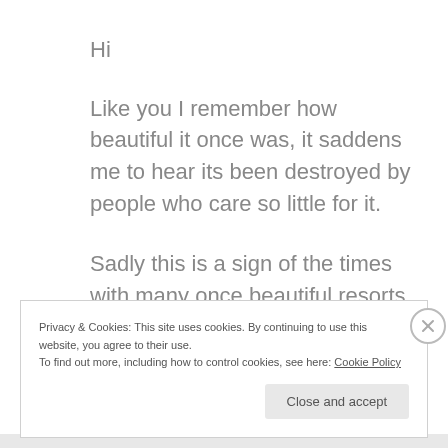Hi
Like you I remember how beautiful it once was, it saddens me to hear its been destroyed by people who care so little for it.
Sadly this is a sign of the times with many once beautiful resorts worldwide just left as they once were, a relic of the past.
Privacy & Cookies: This site uses cookies. By continuing to use this website, you agree to their use.
To find out more, including how to control cookies, see here: Cookie Policy
Close and accept